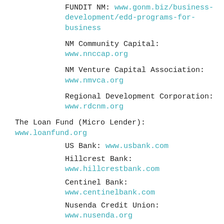FUNDIT NM:  www.gonm.biz/business-development/edd-programs-for-business
NM Community Capital:  www.nnccap.org
NM Venture Capital Association:  www.nmvca.org
Regional Development Corporation:  www.rdcnm.org
The Loan Fund (Micro Lender):  www.loanfund.org
US Bank:  www.usbank.com
Hillcrest Bank:  www.hillcrestbank.com
Centinel Bank:  www.centinelbank.com
Nusenda Credit Union:  www.nusenda.org
Guadalupe Credit Union:  www.guadalupecu.org/business-accounts